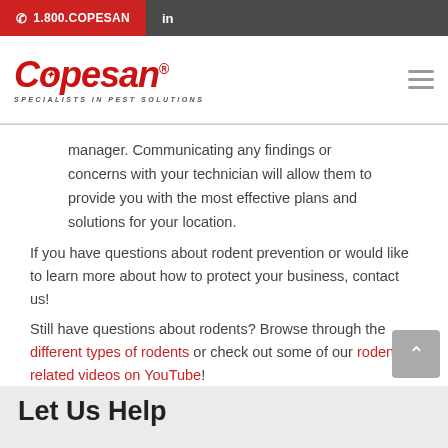1.800.COPESAN  in
[Figure (logo): Copesan logo — red italic wordmark with star in the O, tagline SPECIALISTS IN PEST SOLUTIONS]
manager. Communicating any findings or concerns with your technician will allow them to provide you with the most effective plans and solutions for your location.
If you have questions about rodent prevention or would like to learn more about how to protect your business, contact us!
Still have questions about rodents? Browse through the different types of rodents or check out some of our rodent-related videos on YouTube!
Let Us Help